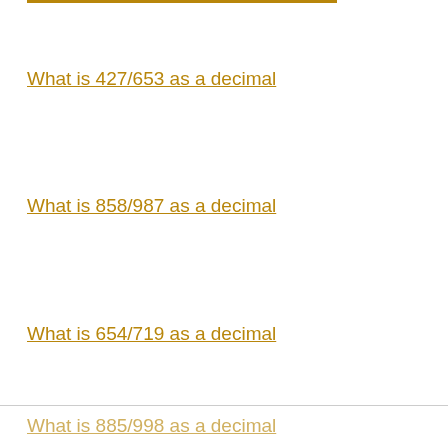What is 427/653 as a decimal
What is 858/987 as a decimal
What is 654/719 as a decimal
What is 885/998 as a decimal
What is 215/382 as a decimal
What is 943/980 as a decimal
What is 797/898 as a decimal
What is 894/948 as a decimal